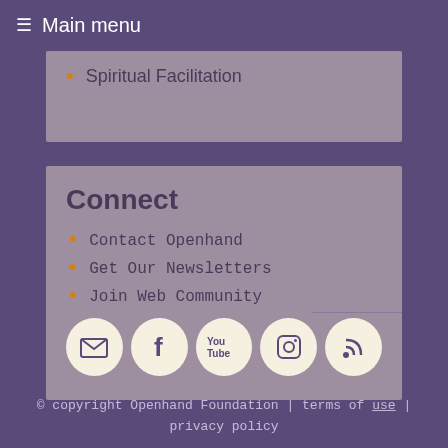≡ Main menu
Spiritual Facilitation
Connect
Contact Openhand
Get Our Newsletters
Join Web Community
[Figure (other): Social media icons: email, Facebook, YouTube, Instagram, RSS feed]
© copyright Openhand Foundation | terms of use | privacy policy